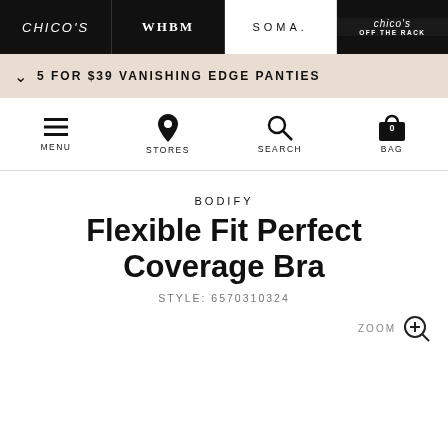chico's | WHBM | SOMA | chico's OFF THE RACK
5 FOR $39 VANISHING EDGE PANTIES
[Figure (screenshot): Navigation icons: MENU (hamburger), STORES (map pin), SEARCH (magnifier), BAG (bag with 0 badge)]
Flexible Fit Perfect Coverage Bra
BODIFY
STYLE: 6570310324
ZOOM